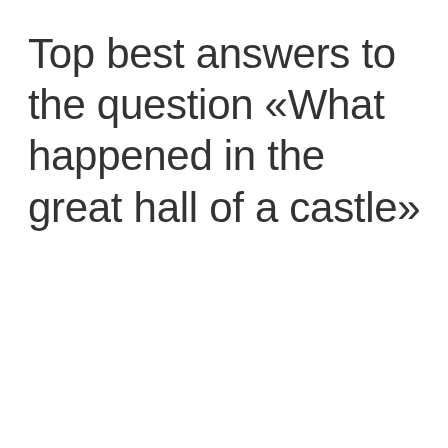Top best answers to the question «What happened in the great hall of a castle»